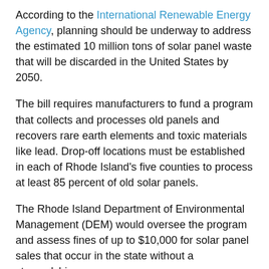According to the International Renewable Energy Agency, planning should be underway to address the estimated 10 million tons of solar panel waste that will be discarded in the United States by 2050.
The bill requires manufacturers to fund a program that collects and processes old panels and recovers rare earth elements and toxic materials like lead. Drop-off locations must be established in each of Rhode Island’s five counties to process at least 85 percent of old solar panels.
The Rhode Island Department of Environmental Management (DEM) would oversee the program and assess fines of up to $10,000 for solar panel sales that occur in the state without a stewardship program.
At a March 11 hearing, local solar installers warned that the the bill would hurt business. They argued that only the state of Washington has such a law. It passed in 2017 but has been delayed until 2023 because of implementation problems.
“It would basically be a ban on the sale of solar panels in